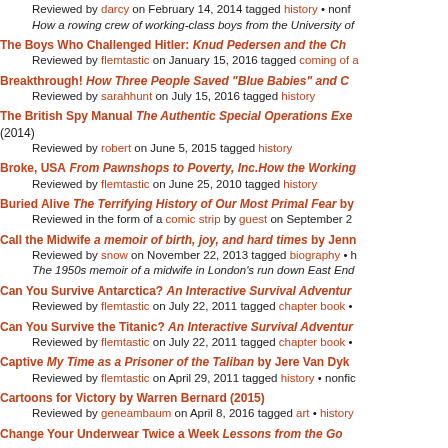Reviewed by darcy on February 14, 2014 tagged history • nonf...
How a rowing crew of working-class boys from the University of ...
The Boys Who Challenged Hitler: Knud Pedersen and the Ch...
Reviewed by flemtastic on January 15, 2016 tagged coming of a...
Breakthrough! How Three People Saved "Blue Babies" and C...
Reviewed by sarahhunt on July 15, 2016 tagged history
The British Spy Manual The Authentic Special Operations Exe... (2014)
Reviewed by robert on June 5, 2015 tagged history
Broke, USA From Pawnshops to Poverty, Inc.How the Working...
Reviewed by flemtastic on June 25, 2010 tagged history
Buried Alive The Terrifying History of Our Most Primal Fear by...
Reviewed in the form of a comic strip by guest on September 2...
Call the Midwife a memoir of birth, joy, and hard times by Jenn...
Reviewed by snow on November 22, 2013 tagged biography • h...
The 1950s memoir of a midwife in London's run down East End...
Can You Survive Antarctica? An Interactive Survival Adventur...
Reviewed by flemtastic on July 22, 2011 tagged chapter book •
Can You Survive the Titanic? An Interactive Survival Adventur...
Reviewed by flemtastic on July 22, 2011 tagged chapter book •
Captive My Time as a Prisoner of the Taliban by Jere Van Dyk ...
Reviewed by flemtastic on April 29, 2011 tagged history • nonfic...
Cartoons for Victory by Warren Bernard (2015)
Reviewed by geneambaum on April 8, 2016 tagged art • history
Change Your Underwear Twice a Week Lessons from the Go...